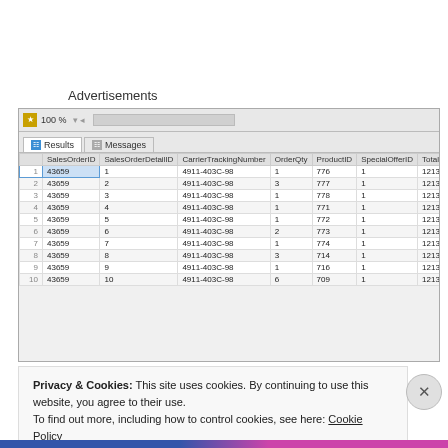Advertisements
[Figure (screenshot): SQL Server Management Studio query results window showing a table with columns SalesOrderID, SalesOrderDetailID, CarrierTrackingNumber, OrderQty, ProductID, SpecialOfferID, TotalCount. 10 rows shown, all with SalesOrderID 43659, tracking number 4911-403C-98, and TotalCount 12131700.]
|  | SalesOrderID | SalesOrderDetailID | CarrierTrackingNumber | OrderQty | ProductID | SpecialOfferID | TotalCount |
| --- | --- | --- | --- | --- | --- | --- | --- |
| 1 | 43659 | 1 | 4911-403C-98 | 1 | 776 | 1 | 12131700 |
| 2 | 43659 | 2 | 4911-403C-98 | 3 | 777 | 1 | 12131700 |
| 3 | 43659 | 3 | 4911-403C-98 | 1 | 778 | 1 | 12131700 |
| 4 | 43659 | 4 | 4911-403C-98 | 1 | 771 | 1 | 12131700 |
| 5 | 43659 | 5 | 4911-403C-98 | 1 | 772 | 1 | 12131700 |
| 6 | 43659 | 6 | 4911-403C-98 | 2 | 773 | 1 | 12131700 |
| 7 | 43659 | 7 | 4911-403C-98 | 1 | 774 | 1 | 12131700 |
| 8 | 43659 | 8 | 4911-403C-98 | 3 | 714 | 1 | 12131700 |
| 9 | 43659 | 9 | 4911-403C-98 | 1 | 716 | 1 | 12131700 |
| 10 | 43659 | 10 | 4911-403C-98 | 6 | 709 | 1 | 12131700 |
Privacy & Cookies: This site uses cookies. By continuing to use this website, you agree to their use.
To find out more, including how to control cookies, see here: Cookie Policy
Close and accept